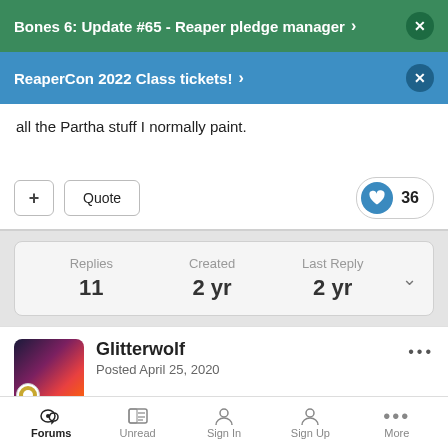Bones 6: Update #65 - Reaper pledge manager >
ReaperCon 2022 Class tickets! >
all the Partha stuff I normally paint.
+ Quote  ❤ 36
| Replies | Created | Last Reply |
| --- | --- | --- |
| 11 | 2 yr | 2 yr |
Glitterwolf
Posted April 25, 2020
Forums  Unread  Sign In  Sign Up  More